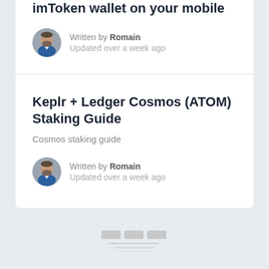imToken wallet on your mobile
Written by Romain
Updated over a week ago
Keplr + Ledger Cosmos (ATOM) Staking Guide
Cosmos staking guide
Written by Romain
Updated over a week ago
[Figure (logo): Small footer logo/icon with three rectangles and lines below]